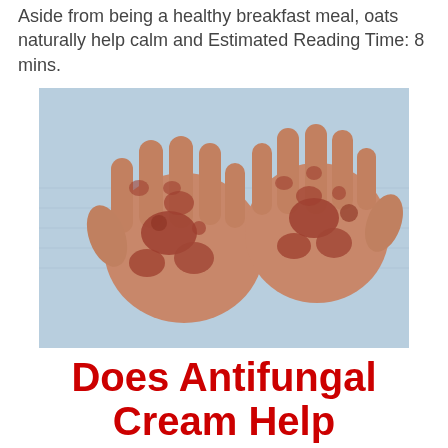Aside from being a healthy breakfast meal, oats naturally help calm and Estimated Reading Time: 8 mins.
[Figure (photo): Two hands with palms facing up showing severe psoriasis skin condition with red, scaly, inflamed patches on a light blue background]
Does Antifungal Cream Help Psoriasis?